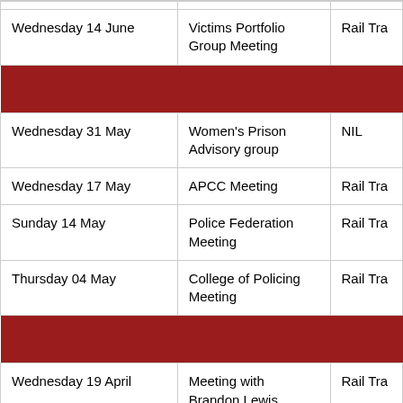| Date | Event | Transport (truncated) |
| --- | --- | --- |
| Wednesday 14 June | Victims Portfolio Group Meeting | Rail Tra… |
| [section row] |  |  |
| Wednesday 31 May | Women's Prison Advisory group | NIL |
| Wednesday 17 May | APCC Meeting | Rail Tra… |
| Sunday 14 May | Police Federation Meeting | Rail Tra… |
| Thursday 04 May | College of Policing Meeting | Rail Tra… |
| [section row] |  |  |
| Wednesday 19 April | Meeting with Brandon Lewis | Rail Tra… |
| Wednesday 12 April |  | Taxi |
| Wednesday 12 April |  | Taxi |
| Wednesday 12 April |  | Taxi |
| Wednesday 05 April | Taxi from Raddison Hotel to Durham… | Taxi Far… |